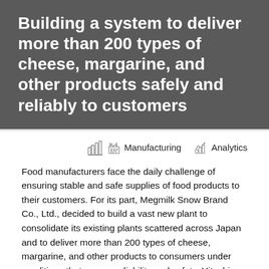Building a system to deliver more than 200 types of cheese, margarine, and other products safely and reliably to customers
Manufacturing   Analytics
Food manufacturers face the daily challenge of ensuring stable and safe supplies of food products to their customers. For its part, Megmilk Snow Brand Co., Ltd., decided to build a vast new plant to consolidate its existing plants scattered across Japan and to deliver more than 200 types of cheese, margarine, and other products to consumers under conditions that ensure reliability and safety. Hitachi worked in partnership with Megmilk Snow Brand starting from the planning stages of this new plant, with the objective of